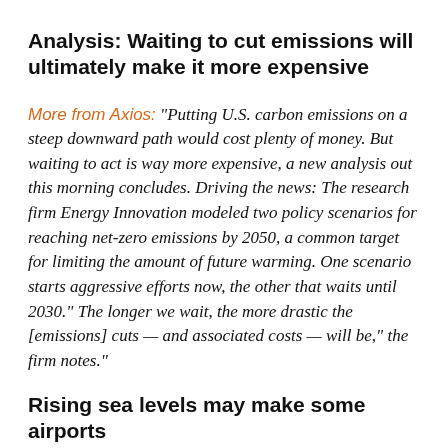Analysis: Waiting to cut emissions will ultimately make it more expensive
More from Axios: "Putting U.S. carbon emissions on a steep downward path would cost plenty of money. But waiting to act is way more expensive, a new analysis out this morning concludes. Driving the news: The research firm Energy Innovation modeled two policy scenarios for reaching net-zero emissions by 2050, a common target for limiting the amount of future warming. One scenario starts aggressive efforts now, the other that waits until 2030." The longer we wait, the more drastic the [emissions] cuts — and associated costs — will be," the firm notes."
Rising sea levels may make some airports